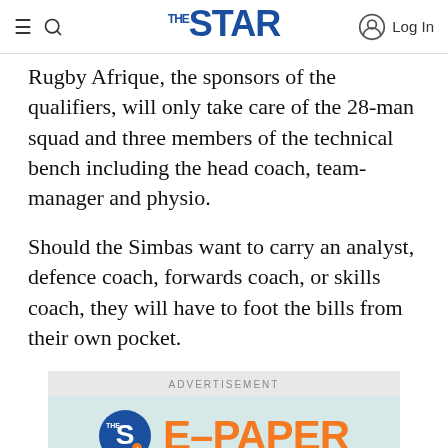THE STAR — Log In
Rugby Afrique, the sponsors of the qualifiers, will only take care of the 28-man squad and three members of the technical bench including the head coach, team-manager and physio.
Should the Simbas want to carry an analyst, defence coach, forwards coach, or skills coach, they will have to foot the bills from their own pocket.
[Figure (illustration): Advertisement banner for The Star E-Paper featuring the Star logo (blue circle with S), orange E-PAPER text, a green divider line, and stacked newspaper images below.]